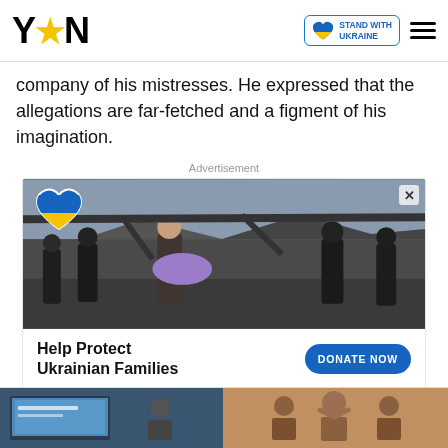YEN (logo) | STAND WITH UKRAINE badge | hamburger menu
company of his mistresses. He expressed that the allegations are far-fetched and a figment of his imagination.
Advertisement
[Figure (photo): Advertisement for Ukrainian humanitarian aid: photo of people carrying an injured person through rubble of a destroyed bridge. A Ukraine flag heart icon is overlaid top-left. An X close button is top-right. Below the photo: 'Help Protect Ukrainian Families' with a blue 'DONATE NOW' button.]